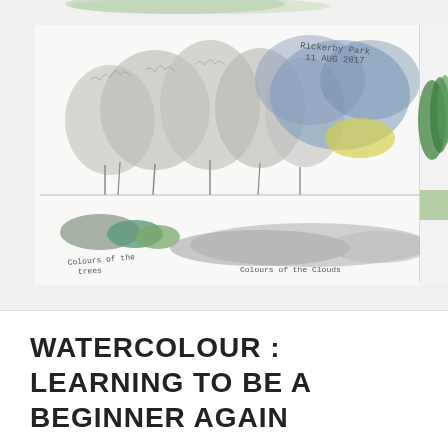[Figure (illustration): A sketchbook page showing pencil sketches and watercolour studies of trees at Rickerby Park, dated 11 AUG 2017. The left portion shows graphite tree sketches with watercolour colour swatches labelled 'Colours of the trees' and 'Colours of the Clouds'. The right portion shows a small finished watercolour painting of trees in greens. A handwritten note in the upper right reads 'Rickerby Park 11 AUG 2017'.]
WATERCOLOUR : LEARNING TO BE A BEGINNER AGAIN